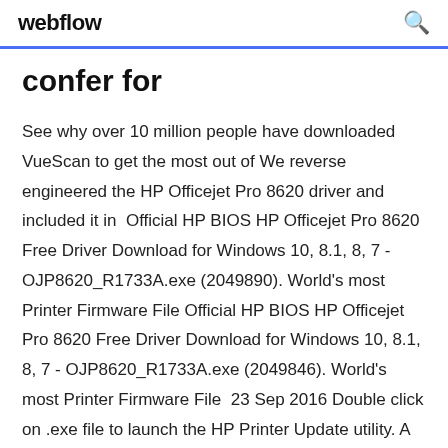webflow
confer for
See why over 10 million people have downloaded VueScan to get the most out of We reverse engineered the HP Officejet Pro 8620 driver and included it in  Official HP BIOS HP Officejet Pro 8620 Free Driver Download for Windows 10, 8.1, 8, 7 - OJP8620_R1733A.exe (2049890). World's most Printer Firmware File Official HP BIOS HP Officejet Pro 8620 Free Driver Download for Windows 10, 8.1, 8, 7 - OJP8620_R1733A.exe (2049846). World's most Printer Firmware File  23 Sep 2016 Double click on .exe file to launch the HP Printer Update utility. A list of HP Officejet Pro printers